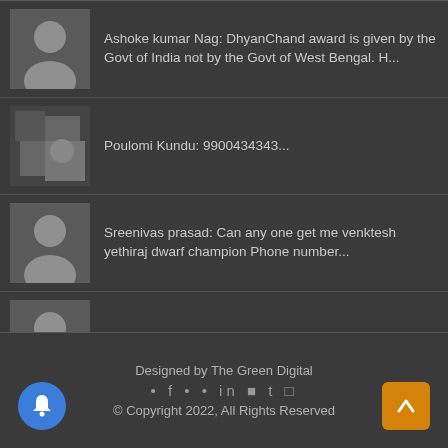Ashoke kumar Nag: DhyanChand award is given by the Govt of India not by the Govt of West Bengal. H...
Poulomi Kundu: 9900434343...
Sreenivas prasad: Can any one get me venktesh yethiraj dwarf champion Phone number...
Sudarshan Kalike: Good...
SUBIR BANERJI: Really enjoyed reading the nice article by Sunil Valavalkar. I just came across...
Designed by The Green Digital
© Copyright 2022, All Rights Reserved